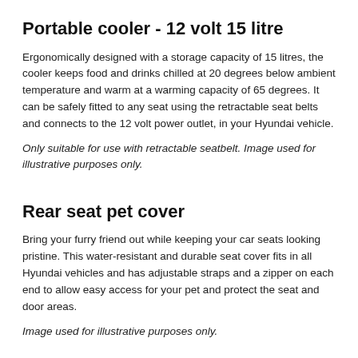Portable cooler - 12 volt 15 litre
Ergonomically designed with a storage capacity of 15 litres, the cooler keeps food and drinks chilled at 20 degrees below ambient temperature and warm at a warming capacity of 65 degrees. It can be safely fitted to any seat using the retractable seat belts and connects to the 12 volt power outlet, in your Hyundai vehicle.
Only suitable for use with retractable seatbelt. Image used for illustrative purposes only.
Rear seat pet cover
Bring your furry friend out while keeping your car seats looking pristine. This water-resistant and durable seat cover fits in all Hyundai vehicles and has adjustable straps and a zipper on each end to allow easy access for your pet and protect the seat and door areas.
Image used for illustrative purposes only.